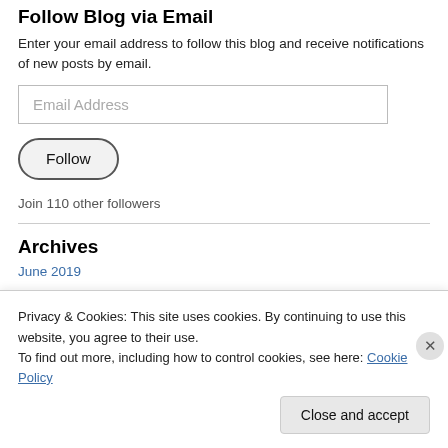Follow Blog via Email
Enter your email address to follow this blog and receive notifications of new posts by email.
Email Address
Follow
Join 110 other followers
Archives
June 2019
Privacy & Cookies: This site uses cookies. By continuing to use this website, you agree to their use.
To find out more, including how to control cookies, see here: Cookie Policy
Close and accept